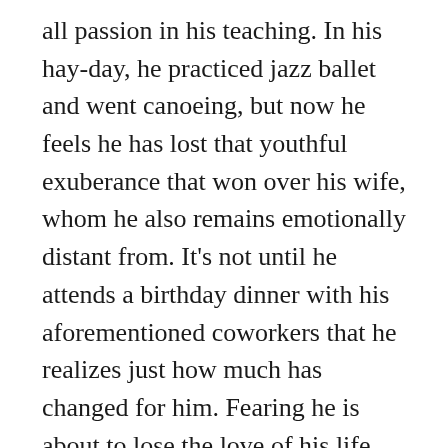all passion in his teaching. In his hay-day, he practiced jazz ballet and went canoeing, but now he feels he has lost that youthful exuberance that won over his wife, whom he also remains emotionally distant from. It's not until he attends a birthday dinner with his aforementioned coworkers that he realizes just how much has changed for him. Fearing he is about to lose the love of his life, he desperately seeks a way to capture the energy he once had. Nikolaj (Magnus Millang), a psychology teacher, introduces the group to Skårderud's theory, and because each of the teachers are experiencing a similar rut, the group of